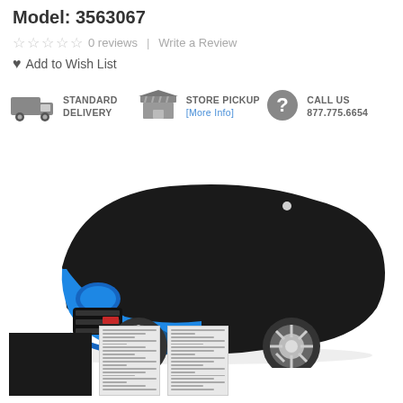Model: 3563067
☆ ☆ ☆ ☆ ☆  0 reviews  |  Write a Review
♥ Add to Wish List
STANDARD DELIVERY  STORE PICKUP [More Info]  CALL US 877.775.6654
[Figure (photo): Blue Dodge Challenger muscle car partially covered with a black car cover, studio shot on white background]
[Figure (photo): Thumbnail: solid black fabric swatch]
[Figure (photo): Thumbnail: document/spec sheet 1]
[Figure (photo): Thumbnail: document/spec sheet 2]